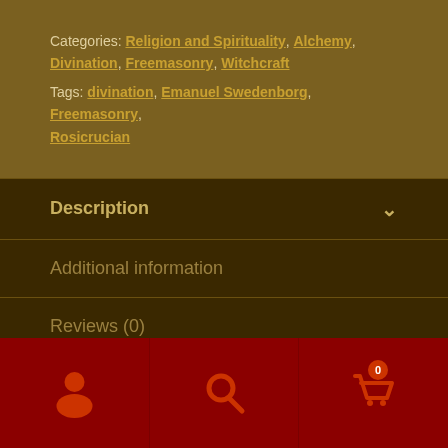Categories: Religion and Spirituality, Alchemy, Divination, Freemasonry, Witchcraft
Tags: divination, Emanuel Swedenborg, Freemasonry, Rosicrucian
Description
Additional information
Reviews (0)